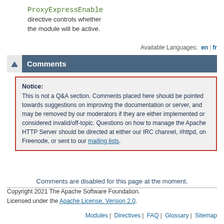ProxyExpressEnable directive controls whether the module will be active.
Available Languages: en | fr
Comments
Notice: This is not a Q&A section. Comments placed here should be pointed towards suggestions on improving the documentation or server, and may be removed by our moderators if they are either implemented or considered invalid/off-topic. Questions on how to manage the Apache HTTP Server should be directed at either our IRC channel, #httpd, on Freenode, or sent to our mailing lists.
Comments are disabled for this page at the moment.
Copyright 2021 The Apache Software Foundation. Licensed under the Apache License, Version 2.0.
Modules | Directives | FAQ | Glossary | Sitemap